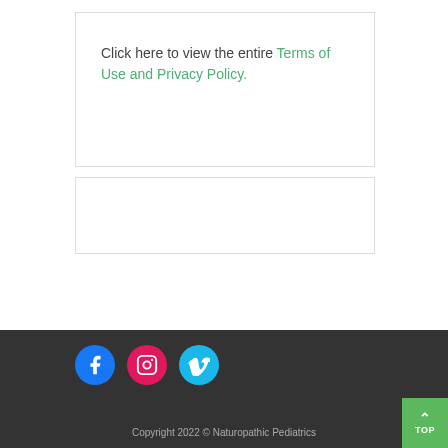Click here to view the entire Terms of Use and Privacy Policy.
[Figure (other): Empty white bordered box]
Copyright 2022 © Naturopathic Pediatrics